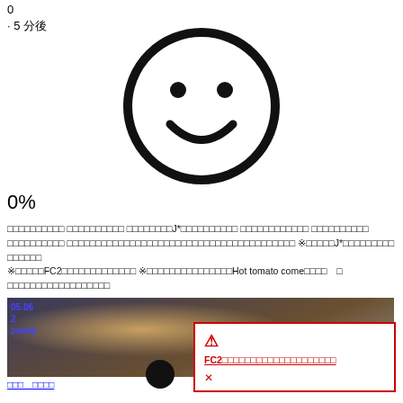0
· 5 分後
[Figure (illustration): Black outlined smiley face emoji on white background]
0%
□□□□□□□□□□ □□□□□□□□□□ □□□□□□□□J*□□□□□□□□□□ □□□□□□□□□□□□ □□□□□□□□□□□□ □□□□□□□□□□□□□□□□□□□□□□□□□□□□□□□□□□□□□□□□ ※□□□□□J*□□□□□□□□□□□□□□ ※□□□□□FC2□□□□□□□□□□□□□□□ ※□□□□□□□□□□□□□□□Hot tomato come□□□□　□ □□□□□□□□□□□□□□□□□□
[Figure (screenshot): Video thumbnail showing a person, with date overlay in top left showing 05.06, 2, 2009 in blue text]
□□□　□□□□
[Figure (illustration): FC2 error popup with red border showing exclamation icon and FC2 error message in red text with X close button]
[Figure (illustration): Black circle emoji face at bottom center]